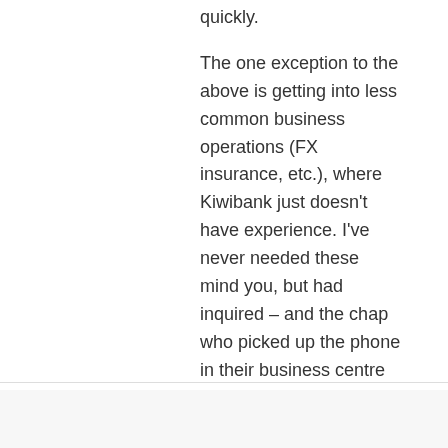quickly.
The one exception to the above is getting into less common business operations (FX insurance, etc.), where Kiwibank just doesn't have experience. I've never needed these mind you, but had inquired – and the chap who picked up the phone in their business centre was able to tell me that they simply don't do this.
So clearly a bad customer service experience, but based on my dealings with them, this is likely an exception…
★ Like
brian222013 on June 29, 2013 at 6:57 pm